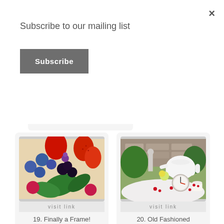×
Subscribe to our mailing list
Subscribe
and mildly probiotics for gut health!
[Figure (photo): Close-up of mixed berries including strawberries, blueberries, raspberries, blackberries with green leaves]
visit link
19. Finally a Frame!
[Figure (photo): Outdoor garden table setting with white teapot, strawberry-themed teacup and saucer, floral centerpiece and clock]
visit link
20. Old Fashioned Strawberry Ice Cream